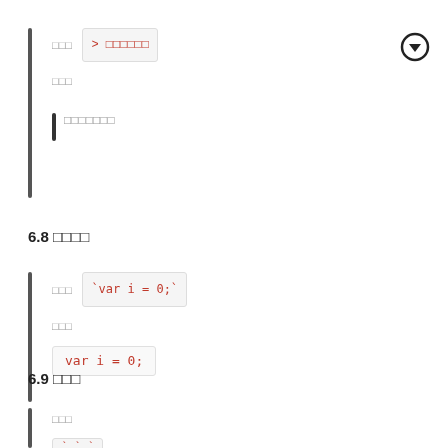□□□  > □□□□□□
□□□
□□□□□□□
6.8 □□□□
□□□  `var i = 0;`
□□□
var i = 0;
6.9 □□□
□□□
` ` `